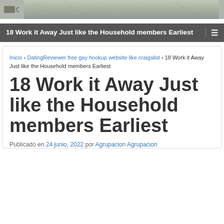[Figure (photo): Website header banner with decorative nature/winter tree photo and small logo/icon on the left]
18 Work it Away Just like the Household members Earliest
Inicio › DatingReviewer free gay hookup website like craigslist › 18 Work it Away Just like the Household members Earliest
18 Work it Away Just like the Household members Earliest
Publicado en 24 junio, 2022 por Agrupacion Agrupacion